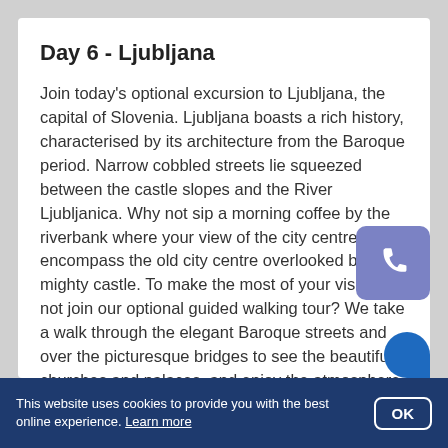Day 6 - Ljubljana
Join today's optional excursion to Ljubljana, the capital of Slovenia. Ljubljana boasts a rich history, characterised by its architecture from the Baroque period. Narrow cobbled streets lie squeezed between the castle slopes and the River Ljubljanica. Why not sip a morning coffee by the riverbank where your view of the city centre will encompass the old city centre overlooked by the mighty castle. To make the most of your visit why not join our optional guided walking tour? We take a walk through the elegant Baroque streets and over the picturesque bridges to see the beautiful churches and palaces, and enjoy the atmosphere of the
[Figure (other): Phone/call button icon — a rounded square with purple/blue background and white telephone handset icon]
This website uses cookies to provide you with the best online experience. Learn more  OK